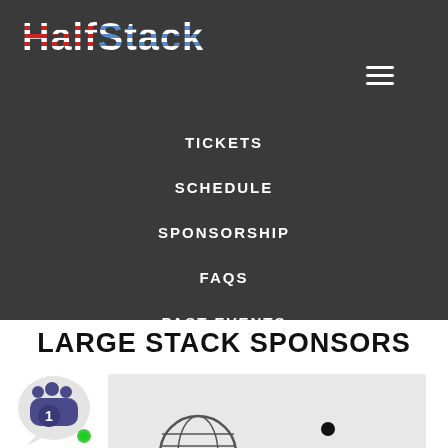[Figure (logo): HalfStack conference logo with striped letters, 'Half' in red/white stripes and 'Stack' in blue/white stripes]
[Figure (other): Hamburger menu icon (three horizontal white lines) in top right corner]
TICKETS
SCHEDULE
SPONSORSHIP
FAQS
PAST EVENTS
LARGE STACK SPONSORS
[Figure (other): Chat widget bubble icon showing a fist/group of people graphic with number 1 badge and green online indicator dot]
[Figure (other): Sponsor logo area showing a partial globe/network graphic on light grey background]